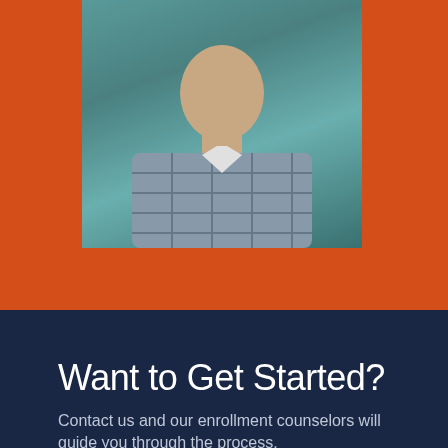[Figure (photo): Portrait photo of James Pobanz '14, a man in a plaid shirt standing in front of a teal tiled wall, with orange border framing]
James Pobanz '14
Want to Get Started?
Contact us and our enrollment counselors will guide you through the process.